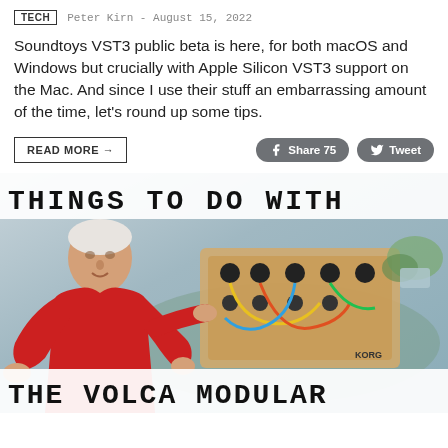TECH  Peter Kirn - August 15, 2022
Soundtoys VST3 public beta is here, for both macOS and Windows but crucially with Apple Silicon VST3 support on the Mac. And since I use their stuff an embarrassing amount of the time, let's round up some tips.
READ MORE →    Share 75    Tweet
[Figure (photo): Photo of an older man in a red sweater gesturing at a Korg Volca Modular synthesizer with patch cables, with plants visible in the background. Overlaid text banners read 'THINGS TO DO WITH' at the top and 'THE VOLCA MODULAR' at the bottom in monospace bold font.]